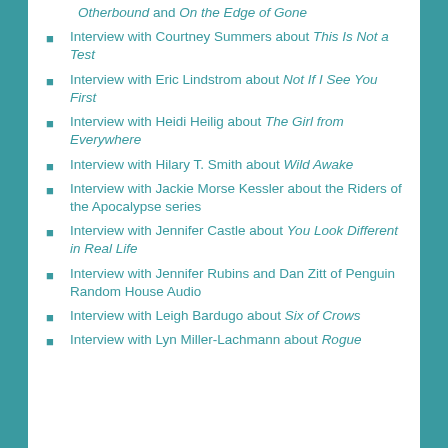Otherbound and On the Edge of Gone
Interview with Courtney Summers about This Is Not a Test
Interview with Eric Lindstrom about Not If I See You First
Interview with Heidi Heilig about The Girl from Everywhere
Interview with Hilary T. Smith about Wild Awake
Interview with Jackie Morse Kessler about the Riders of the Apocalypse series
Interview with Jennifer Castle about You Look Different in Real Life
Interview with Jennifer Rubins and Dan Zitt of Penguin Random House Audio
Interview with Leigh Bardugo about Six of Crows
Interview with Lyn Miller-Lachmann about Rogue